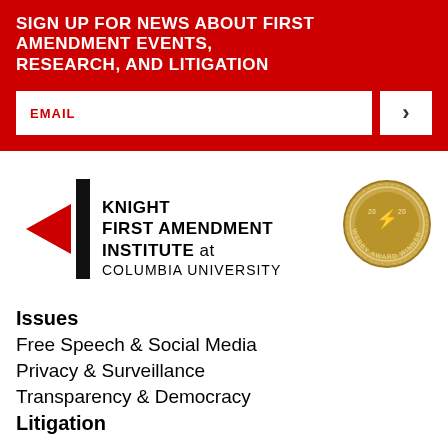SIGN UP FOR NEWS ABOUT FIRST AMENDMENT EVENTS, RESEARCH, AND LITIGATION
EMAIL
[Figure (logo): Knight First Amendment Institute at Columbia University logo with red triangle and black bar, plus Webby Award Winner 2020 gold seal]
Issues
Free Speech & Social Media
Privacy & Surveillance
Transparency & Democracy
Litigation